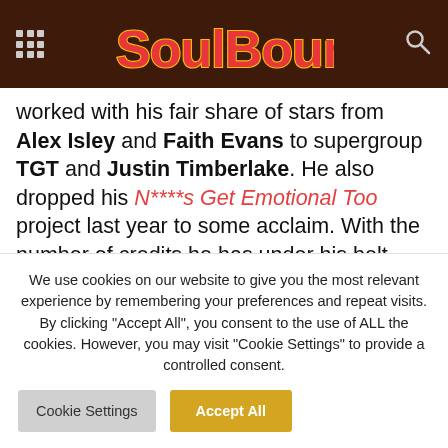SoulBounce
worked with his fair share of stars from Alex Isley and Faith Evans to supergroup TGT and Justin Timberlake. He also dropped his N****s Get Emotional Too project last year to some acclaim. With the number of credits he has under his belt, you’d think he’d be a household name. He doesn’t seem too fazed by the lack of name
We use cookies on our website to give you the most relevant experience by remembering your preferences and repeat visits. By clicking “Accept All”, you consent to the use of ALL the cookies. However, you may visit "Cookie Settings" to provide a controlled consent.